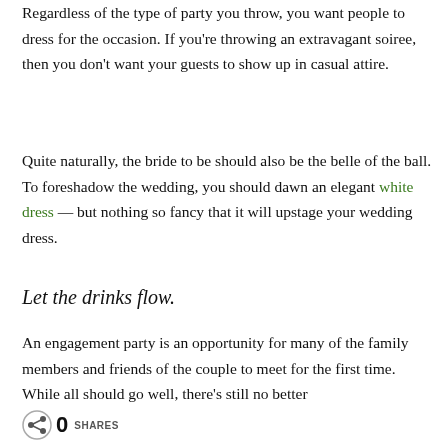Regardless of the type of party you throw, you want people to dress for the occasion. If you're throwing an extravagant soiree, then you don't want your guests to show up in casual attire.
Quite naturally, the bride to be should also be the belle of the ball. To foreshadow the wedding, you should dawn an elegant white dress — but nothing so fancy that it will upstage your wedding dress.
Let the drinks flow.
An engagement party is an opportunity for many of the family members and friends of the couple to meet for the first time. While all should go well, there's still no better
0 SHARES